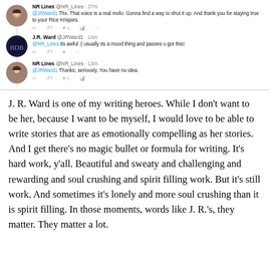[Figure (screenshot): Screenshot of Twitter conversation between NR Lines (@NR_Lines) and J.R. Ward (@JRWard1). Three tweets: NR Lines 37m ago thanking JRWard1 and mentioning Rice Krispies; J.R. Ward 14m ago responding it's awful mood thing; NR Lines 13m ago thanking JR Ward saying You have no idea.]
J. R. Ward is one of my writing heroes. While I don't want to be her, because I want to be myself, I would love to be able to write stories that are as emotionally compelling as her stories. And I get there's no magic bullet or formula for writing. It's hard work, y'all. Beautiful and sweaty and challenging and rewarding and soul crushing and spirit filling work. But it's still work. And sometimes it's lonely and more soul crushing than it is spirit filling. In those moments, words like J. R.'s, they matter. They matter a lot.